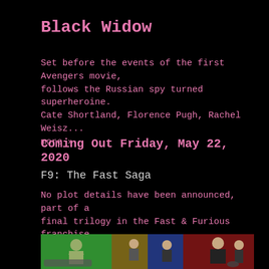Black Widow
Set before the events of the first Avengers movie, follows the Russian spy turned superheroine. Cate Shortland, Florence Pugh, Rachel Weisz... more »
Coming Out Friday, May 22, 2020
F9: The Fast Saga
No plot details have been announced, part of a final trilogy in the Fast & Furious franchise. Tyrese Gibson, Justin Lin, John Cena... more »
[Figure (photo): Movie promotional image for F9: The Fast Saga showing three panels with characters and colored smoke — green, yellow/blue, and red backgrounds]